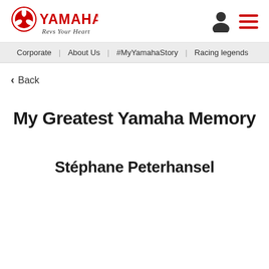[Figure (logo): Yamaha logo with tuning fork emblem in red, 'YAMAHA' text in red bold, and 'Revs Your Heart' tagline in italic script below]
Corporate | About Us | #MyYamahaStory | Racing legends
< Back
My Greatest Yamaha Memory
Stéphane Peterhansel